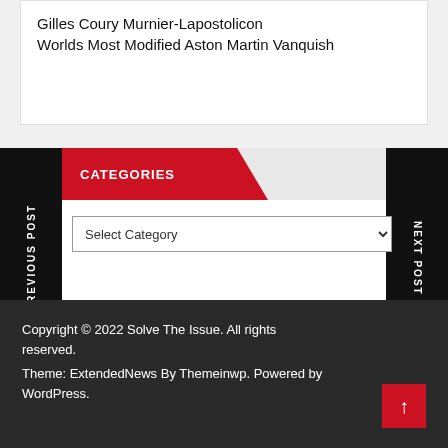Gilles Coury Murnier-Lapostolicon Worlds Most Modified Aston Martin Vanquish
CATEGORIES
Select Category
PREVIOUS POST
NEXT POST
Copyright © 2022 Solve The Issue. All rights reserved.
Theme: ExtendedNews By Themeinwp. Powered by WordPress.